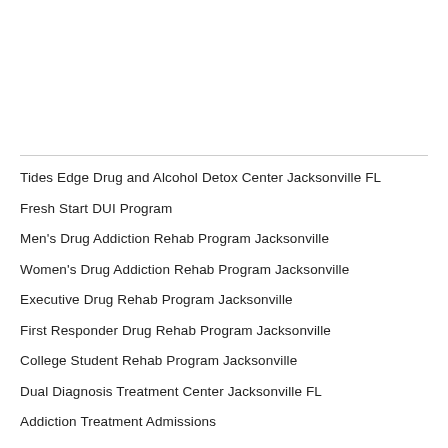Tides Edge Drug and Alcohol Detox Center Jacksonville FL
Fresh Start DUI Program
Men's Drug Addiction Rehab Program Jacksonville
Women's Drug Addiction Rehab Program Jacksonville
Executive Drug Rehab Program Jacksonville
First Responder Drug Rehab Program Jacksonville
College Student Rehab Program Jacksonville
Dual Diagnosis Treatment Center Jacksonville FL
Addiction Treatment Admissions
Depression Treatment Program Jacksonville